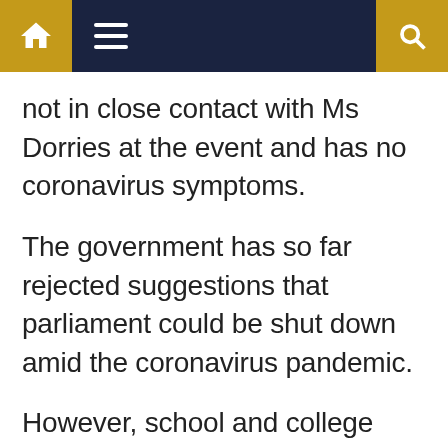Navigation bar with home, menu, and search icons
not in close contact with Ms Dorries at the event and has no coronavirus symptoms.
The government has so far rejected suggestions that parliament could be shut down amid the coronavirus pandemic.
However, school and college tours to the Commons could be rescheduled and visitors prevented from entering parliament.